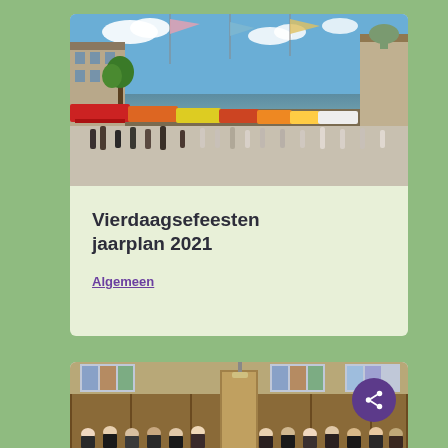[Figure (photo): Street festival scene with colorful market stalls, awnings in red, orange and yellow, crowds of people walking, flags and banners flying, multi-story buildings in background, blue sky with clouds]
Vierdaagsefeesten jaarplan 2021
Algemeen
[Figure (photo): Indoor meeting room with people seated in rows, wooden paneling on walls, stained glass windows visible in background]